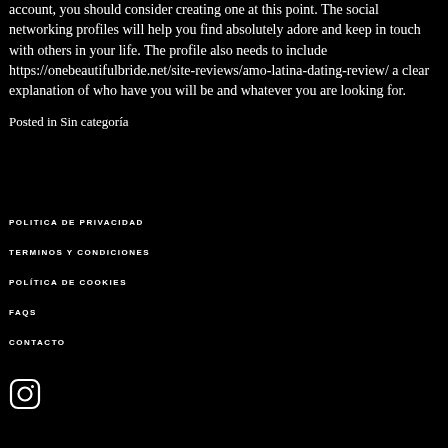account, you should consider creating one at this point. The social networking profiles will help you find absolutely adore and keep in touch with others in your life. The profile also needs to include https://onebeautifulbride.net/site-reviews/amo-latina-dating-review/ a clear explanation of who have you will be and whatever you are looking for.
Posted in Sin categoría
POLITICA DE PRIVACIDAD
TERMINOS Y CONDICIONES
POLÍTICA DE COOKIES
FAQs
CONTACTO
[Figure (logo): Instagram icon (rounded square outline with circle inside and dot)]